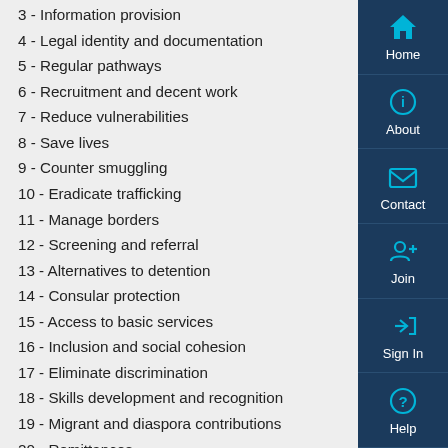3 - Information provision
4 - Legal identity and documentation
5 - Regular pathways
6 - Recruitment and decent work
7 - Reduce vulnerabilities
8 - Save lives
9 - Counter smuggling
10 - Eradicate trafficking
11 - Manage borders
12 - Screening and referral
13 - Alternatives to detention
14 - Consular protection
15 - Access to basic services
16 - Inclusion and social cohesion
17 - Eliminate discrimination
18 - Skills development and recognition
19 - Migrant and diaspora contributions
20 - Remittances
21 - Dignified return and reintegration
22 - Social protection